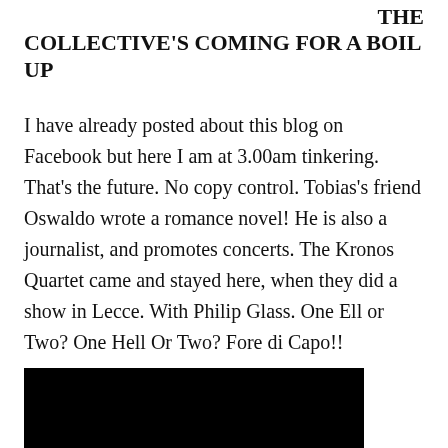THE COLLECTIVE'S COMING FOR A BOIL UP
I have already posted about this blog on Facebook but here I am at 3.00am tinkering. That’s the future. No copy control. Tobias’s friend Oswaldo wrote a romance novel! He is also a journalist, and promotes concerts. The Kronos Quartet came and stayed here, when they did a show in Lecce. With Philip Glass. One Ell or Two? One Hell Or Two? Fore di Capo!!
[Figure (photo): Black image block at the bottom of the page]